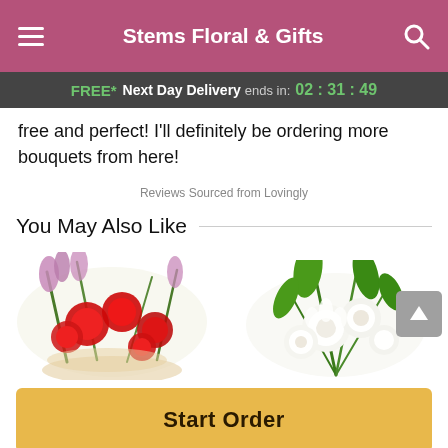Stems Floral & Gifts
FREE* Next Day Delivery ends in: 02 : 31 : 49
free and perfect! I'll definitely be ordering more bouquets from here!
Reviews Sourced from Lovingly
You May Also Like
[Figure (photo): Red carnation and mixed flower arrangement]
[Figure (photo): White lily and rose bouquet]
Start Order